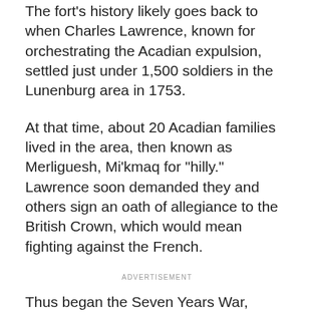The fort's history likely goes back to when Charles Lawrence, known for orchestrating the Acadian expulsion, settled just under 1,500 soldiers in the Lunenburg area in 1753.
At that time, about 20 Acadian families lived in the area, then known as Merliguesh, Mi'kmaq for "hilly." Lawrence soon demanded they and others sign an oath of allegiance to the British Crown, which would mean fighting against the French.
ADVERTISEMENT
Thus began the Seven Years War, pitting the British against the Acadians and Mi'kmaq.
"[The fort] reflects on a time in Nova Scotia's history which is much more tentative," said Gary